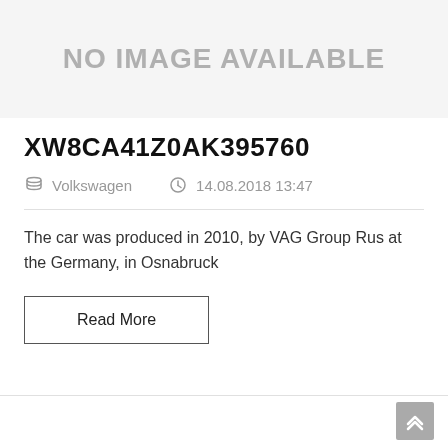[Figure (other): No image available placeholder with gray background and bold gray text reading NO IMAGE AVAILABLE]
XW8CA41Z0AK395760
Volkswagen   14.08.2018 13:47
The car was produced in 2010, by VAG Group Rus at the Germany, in Osnabruck
Read More